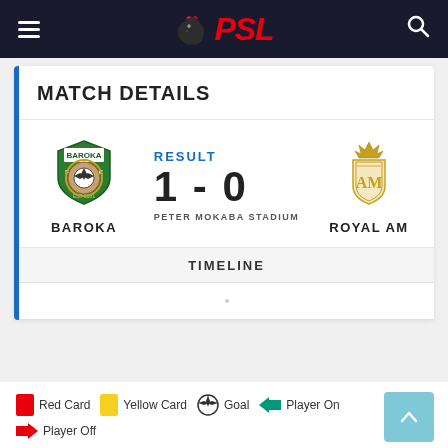PSL
MATCH DETAILS
[Figure (logo): Baroka FC club logo - green shield with soccer ball]
BAROKA
RESULT
1 - 0
PETER MOKABA STADIUM
[Figure (logo): Royal AM club crest - gold crown and shield]
ROYAL AM
TIMELINE
Red Card   Yellow Card   Goal   Player On   Player Off